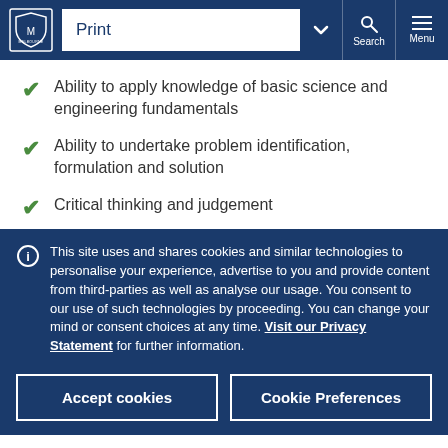Print | Search | Menu — University of Melbourne
Ability to apply knowledge of basic science and engineering fundamentals
Ability to undertake problem identification, formulation and solution
Critical thinking and judgement
This site uses and shares cookies and similar technologies to personalise your experience, advertise to you and provide content from third-parties as well as analyse our usage. You consent to our use of such technologies by proceeding. You can change your mind or consent choices at any time. Visit our Privacy Statement for further information.
Accept cookies | Cookie Preferences